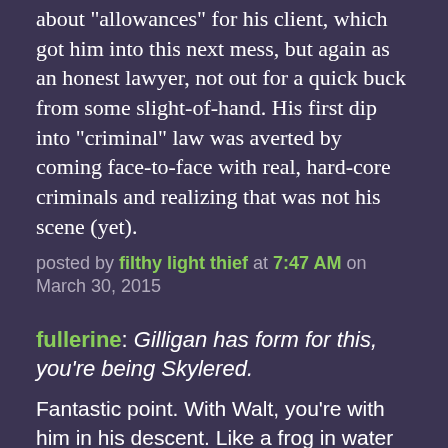about "allowances" for his client, which got him into this next mess, but again as an honest lawyer, not out for a quick buck from some slight-of-hand. His first dip into "criminal" law was averted by coming face-to-face with real, hard-core criminals and realizing that was not his scene (yet).
posted by filthy light thief at 7:47 AM on March 30, 2015
fullerine: Gilligan has form for this, you're being Skylered.
Fantastic point. With Walt, you're with him in his descent. Like a frog in water that slowly boils, you don't really notice the change, and accept it. You see Skyler as the irrational one, who won't embrace all that Walt is doing for his family. Part of the problem is that you don't spend as much time with her, so you don't ease into her shoes as you do with Walt.
Same here with Stacey, who is seen from the outside, while